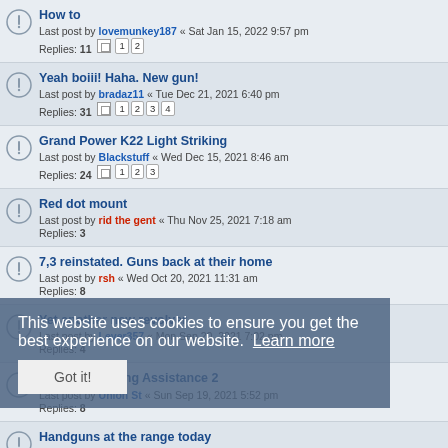How to — Last post by lovemunkey187 « Sat Jan 15, 2022 9:57 pm — Replies: 11 — pages 1 2
Yeah boiii! Haha. New gun! — Last post by bradaz11 « Tue Dec 21, 2021 6:40 pm — Replies: 31 — pages 1 2 3 4
Grand Power K22 Light Striking — Last post by Blackstuff « Wed Dec 15, 2021 8:46 am — Replies: 24 — pages 1 2 3
Red dot mount — Last post by rid the gent « Thu Nov 25, 2021 7:18 am — Replies: 3
7,3 reinstated. Guns back at their home — Last post by rsh « Wed Oct 20, 2021 11:31 am — Replies: 8
Yet another new revolver — Last post by Lever357 « Mon Sep 20, 2021 7:02 pm — Replies: 4
Novelist Seeking Assistance 2 — Last post by Union St « Sun Sep 19, 2021 5:52 pm — Replies: 8
Handguns at the range today — Last post by Dark Skies « Tue Aug 10, 2021 10:50 am — Replies: 2
Finally got it back! — Last post by Steve12345 « Wed Aug 04, 2021 2:49 pm — Replies: 17 — pages 1 2
This website uses cookies to ensure you get the best experience on our website. Learn more — Got it!